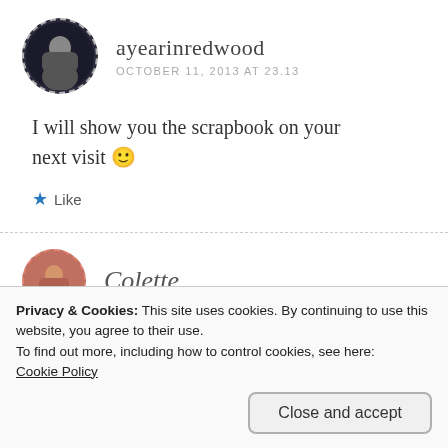ayearinredwood
OCTOBER 11, 2013 AT 23.13
I will show you the scrapbook on your next visit 🙂
Like
Colette
Privacy & Cookies: This site uses cookies. By continuing to use this website, you agree to their use.
To find out more, including how to control cookies, see here:
Cookie Policy
Close and accept